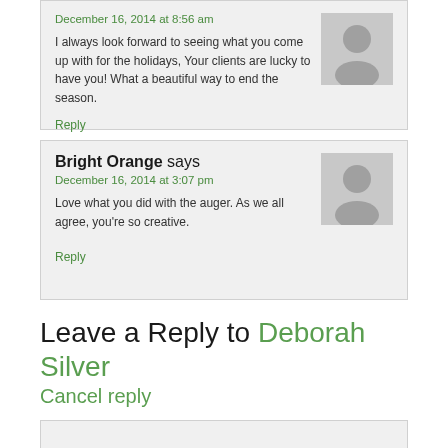December 16, 2014 at 8:56 am
I always look forward to seeing what you come up with for the holidays, Your clients are lucky to have you! What a beautiful way to end the season.
Reply
Bright Orange says
December 16, 2014 at 3:07 pm
Love what you did with the auger. As we all agree, you're so creative.
Reply
Leave a Reply to Deborah Silver
Cancel reply